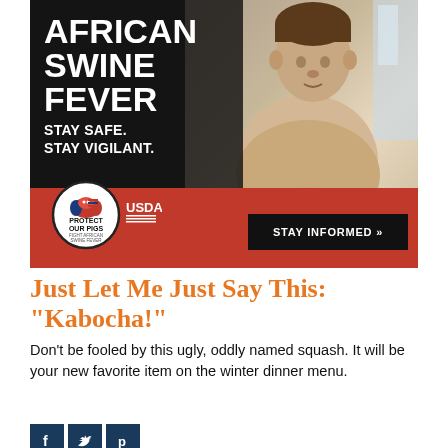[Figure (infographic): USDA 'African Swine Fever – Stay Safe. Stay Vigilant.' advertisement banner. Dark background on left with large white bold text reading 'AFRICAN SWINE FEVER' and 'STAY SAFE. STAY VIGILANT.' A man holding a piglet is visible on the right. Bottom section has red background with 'Protect Our Pigs / Fight African Swine Fever' circular logo, USDA logo, and a black 'STAY INFORMED »' button.]
Just Let Me Just Say This: "Kabocha!"
Don't be fooled by this ugly, oddly named squash. It will be your new favorite item on the winter dinner menu.
[Figure (infographic): Social media sharing icons: Facebook (f), Twitter (bird), Pinterest (p) — dark navy square buttons.]